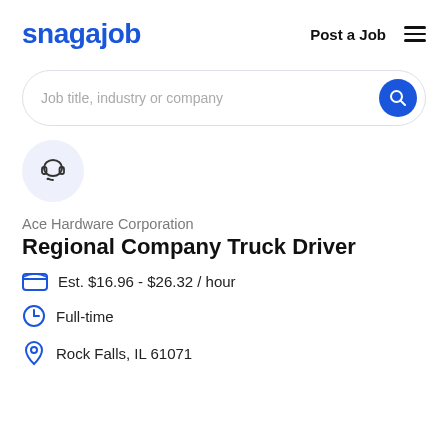snagajob | Post a Job
[Figure (other): Search bar with placeholder text 'Job title, industry or company' and blue search button]
[Figure (other): Company logo icon: headset/headphones icon in a light blue circle]
Ace Hardware Corporation
Regional Company Truck Driver
Est. $16.96 - $26.32 / hour
Full-time
Rock Falls, IL 61071